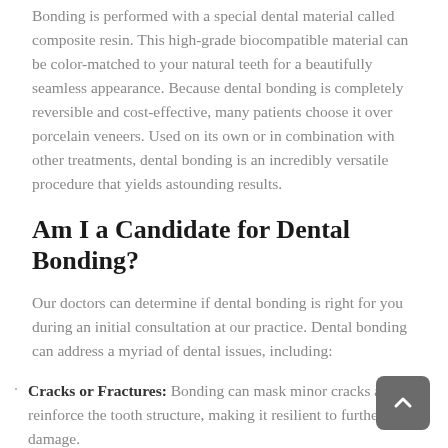Bonding is performed with a special dental material called composite resin. This high-grade biocompatible material can be color-matched to your natural teeth for a beautifully seamless appearance. Because dental bonding is completely reversible and cost-effective, many patients choose it over porcelain veneers. Used on its own or in combination with other treatments, dental bonding is an incredibly versatile procedure that yields astounding results.
Am I a Candidate for Dental Bonding?
Our doctors can determine if dental bonding is right for you during an initial consultation at our practice. Dental bonding can address a myriad of dental issues, including:
Cracks or Fractures: Bonding can mask minor cracks and reinforce the tooth structure, making it resilient to further damage.
Chipped Teeth: Small chips in the teeth can have a negative impact on your smile. These flaws can be concealed with bonding for a symmetrical and balanced